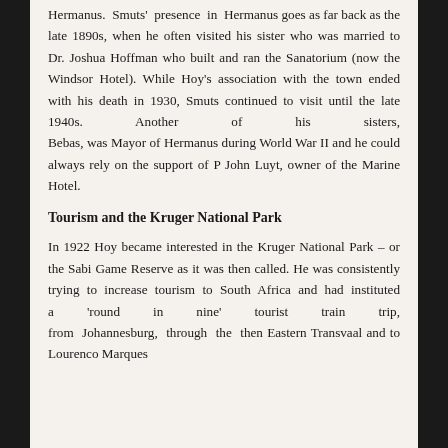Hermanus. Smuts' presence in Hermanus goes as far back as the late 1890s, when he often visited his sister who was married to Dr. Joshua Hoffman who built and ran the Sanatorium (now the Windsor Hotel). While Hoy's association with the town ended with his death in 1930, Smuts continued to visit until the late 1940s. Another of his sisters, Bebas, was Mayor of Hermanus during World War II and he could always rely on the support of P John Luyt, owner of the Marine Hotel.
Tourism and the Kruger National Park
In 1922 Hoy became interested in the Kruger National Park – or the Sabi Game Reserve as it was then called. He was consistently trying to increase tourism to South Africa and had instituted a 'round in nine' tourist train trip, from Johannesburg, through the then Eastern Transvaal and to Lourenco Marques